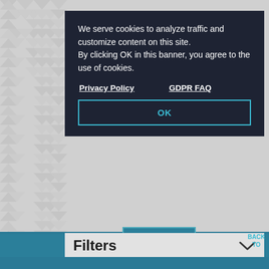[Figure (illustration): Gray geometric triangular/chevron pattern background visible on left side and bottom of page]
We serve cookies to analyze traffic and customize content on this site. By clicking OK in this banner, you agree to the use of cookies.
Privacy Policy    GDPR FAQ
OK
Filters
BACK TO
Dream It. Do it.
Make the most of your Hawaiian vacation with our FREE Official Visitors' Guide.
LET'S GO